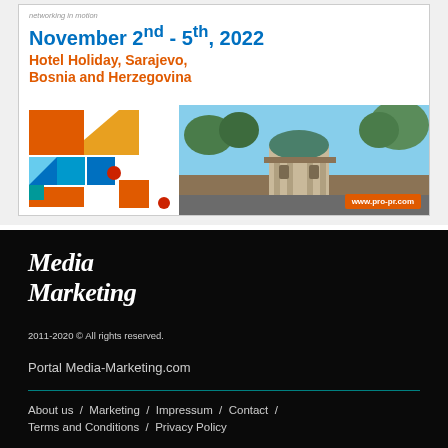[Figure (infographic): Conference advertisement banner: November 2nd-5th, 2022, Hotel Holiday, Sarajevo, Bosnia and Herzegovina. Features geometric colorful art on left and a photo of Sarajevo's Sebilj fountain on right. Website: www.pro-pr.com]
Media Marketing
2011-2020 © All rights reserved.
Portal Media-Marketing.com
About us / Marketing / Impressum / Contact / Terms and Conditions / Privacy Policy